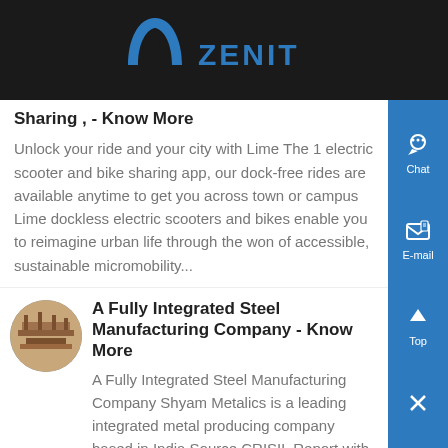ZENIT
Sharing , - Know More
Unlock your ride and your city with Lime The 1 electric scooter and bike sharing app, our dock-free rides are available anytime to get you across town or campus Lime dockless electric scooters and bikes enable you to reimagine urban life through the wonder of accessible, sustainable micromobility...
A Fully Integrated Steel Manufacturing Company - Know More
A Fully Integrated Steel Manufacturing Company Shyam Metalics is a leading integrated metal producing company based in India Source CRISIL Report with a focus on long steel products and ferro alloys We are amongst the largest producers of ferro...